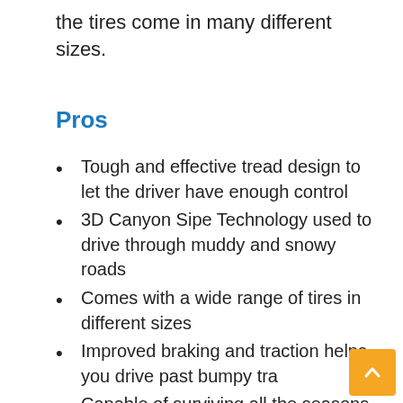the tires come in many different sizes.
Pros
Tough and effective tread design to let the driver have enough control
3D Canyon Sipe Technology used to drive through muddy and snowy roads
Comes with a wide range of tires in different sizes
Improved braking and traction helps you drive past bumpy tra…
Capable of surviving all the seasons in a year